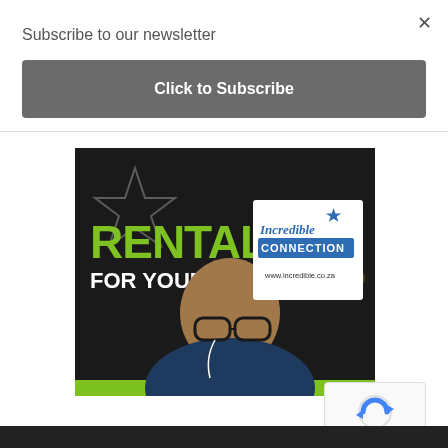Subscribe to our newsletter
Click to Subscribe
[Figure (screenshot): Advertisement for Incredible Connection rentals for your business, showing a young man with glasses and earphones smiling, with green text RENTALS FOR YOUR BUSINESS and the Incredible Connection logo]
[Figure (logo): reCAPTCHA logo with Privacy and Terms text]